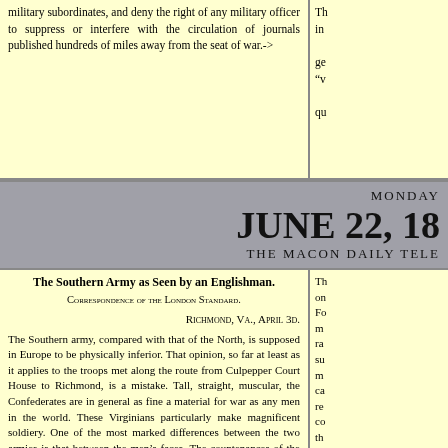military subordinates, and deny the right of any military officer to suppress or interfere with the circulation of journals published hundreds of miles away from the seat of war.->
Th... in... ge... "v... qu...
MONDAY JUNE 22, 18... THE MACON DAILY TELE...
The Southern Army as Seen by an Englishman.
Correspondence of the London Standard.
Richmond, Va., April 3d.
The Southern army, compared with that of the North, is supposed in Europe to be physically inferior. That opinion, so far at least as it applies to the troops met along the route from Culpepper Court House to Richmond, is a mistake. Tall, straight, muscular, the Confederates are in general as fine a material for war as any men in the world. These Virginians particularly make magnificent soldiery. One of the most marked differences between the two armies is that between the men's faces. The countenances of the rank and file on each side differ so much as to present a strong contrast. The stolid expression which one observes in faces at the military posts along the Baltimore and Ohio railway compares unpleasantly with the expression of the frank, genial, intelligent countenances in the ranks of the South. The
Th... on... Fo... m... ra... su... m... ca... re... co... th...
Th... fi... of...